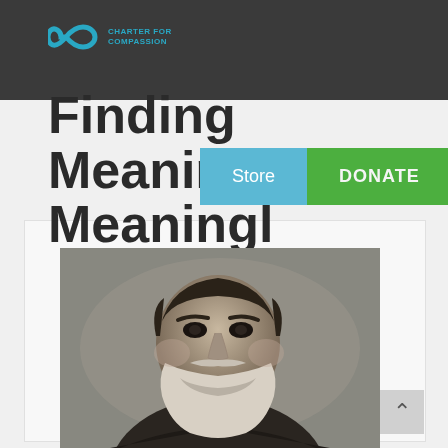Charter for Compassion
Finding Meaning in a Meaningful Wo...
[Figure (screenshot): Navigation bar overlay showing 'Store' button in blue and 'DONATE' button in green]
[Figure (photo): Black and white portrait photograph of an elderly bearded man, likely Leo Tolstoy]